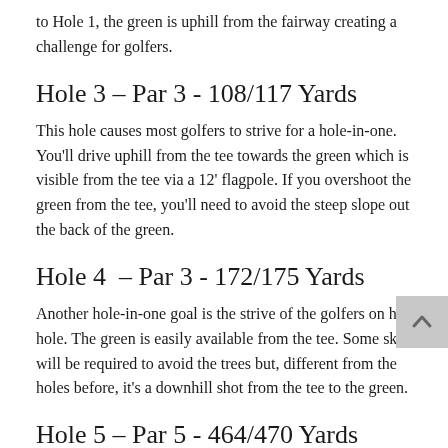to Hole 1, the green is uphill from the fairway creating a challenge for golfers.
Hole 3 – Par 3 - 108/117 Yards
This hole causes most golfers to strive for a hole-in-one. You'll drive uphill from the tee towards the green which is visible from the tee via a 12' flagpole. If you overshoot the green from the tee, you'll need to avoid the steep slope out the back of the green.
Hole 4  – Par 3 - 172/175 Yards
Another hole-in-one goal is the strive of the golfers on his hole. The green is easily available from the tee. Some skill will be required to avoid the trees but, different from the holes before, it's a downhill shot from the tee to the green.
Hole 5 – Par 5 - 464/470 Yards